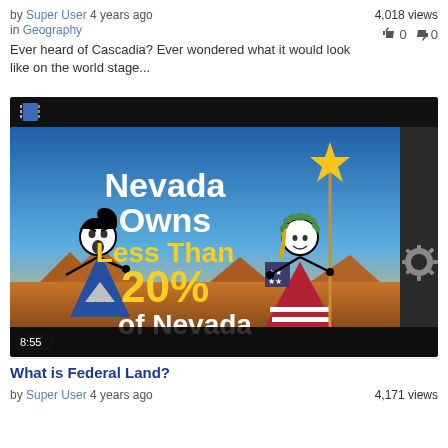by Super User 4 years ago
4,018 views
in Geography
👍 0 👎 0
Ever heard of Cascadia? Ever wondered what it would look like on the world stage...
[Figure (screenshot): Video thumbnail showing two stick figures representing Nevada (left, with Nevada state flag triangle) and the USA (right, holding a star-topped pole, with US flag triangle). Text reads 'Nevada Owns Less Than 20% of Nevada' with a desert background. Duration shown as 8:55.]
What is Federal Land?
by Super User 4 years ago
4,171 views